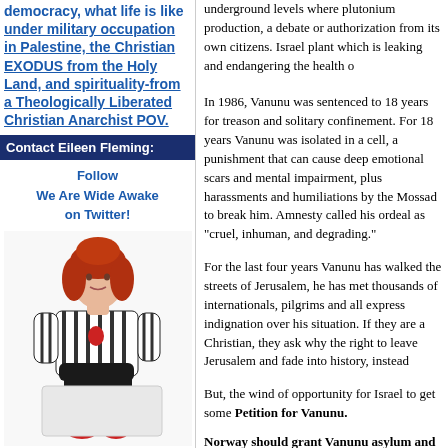democracy, what life is like under military occupation in Palestine, the Christian EXODUS from the Holy Land, and spirituality-from a Theologically Liberated Christian Anarchist POV.
Contact Eileen Fleming:
Follow We Are Wide Awake on Twitter!
[Figure (photo): Photo of a woman with red hair wearing a black and white striped blazer and black pants, seated on a white surface]
Click here to contact Eileen Fleming:
Eileen Fleming on YouTube
underground levels where plutonium production, a debate or authorization from its own citizens. Israel plant which is leaking and endangering the health o
In 1986, Vanunu was sentenced to 18 years for treason and solitary confinement. For 18 years Vanunu was isolated in a cell, a punishment that can cause deep emotional scars and mental impairment, plus harassments and humiliations by the Mossad to break him. Amnesty called his ordeal as "cruel, inhuman, and degrading."
For the last four years Vanunu has walked the streets of Jerusalem, he has met thousands of internationals, pilgrims and all express indignation over his situation. If they are a Christian, they ask why the right to leave Jerusalem and fade into history, instead
But, the wind of opportunity for Israel to get some Petition for Vanunu.
Norway should grant Vanunu asylum and dema
This petition, signed by lawyers and law students, asylum and influence Israeli authorities to lift the b
In 1986 Vanunu was sentenced to prison for having nuclear weapons. He was kept for 11 years in solita his release from jail in April 2004 Vanunu hac